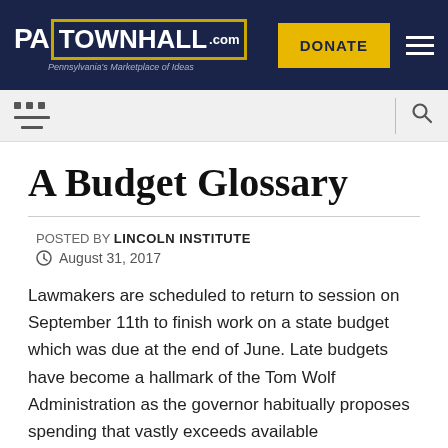PA TOWNHALL.com — Pennsylvania's Marketplace of Ideas | DONATE
A Budget Glossary
POSTED BY LINCOLN INSTITUTE
August 31, 2017
Lawmakers are scheduled to return to session on September 11th to finish work on a state budget which was due at the end of June. Late budgets have become a hallmark of the Tom Wolf Administration as the governor habitually proposes spending that vastly exceeds available